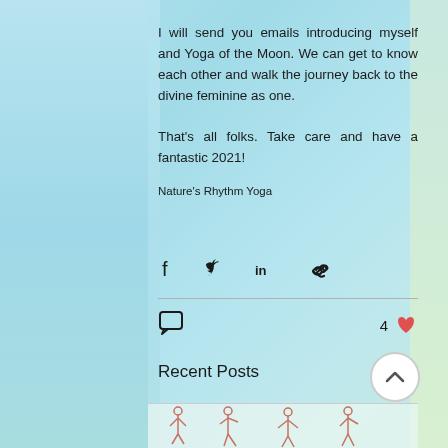I will send you emails introducing myself and Yoga of the Moon. We can get to know each other and walk the journey back to the divine feminine as one.
That's all folks. Take care and have a fantastic 2021!
Nature's Rhythm Yoga
[Figure (infographic): Social share icons: Facebook, Twitter, LinkedIn, link/chain icon]
4
Recent Posts